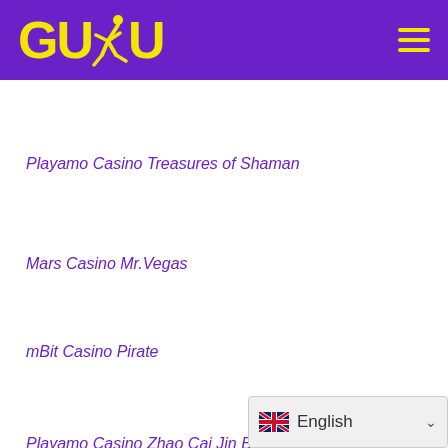[Figure (logo): GUDU logo with yellow bold text and a running figure silhouette on purple background, with hamburger menu icon on the right]
Playamo Casino Treasures of Shaman
Mars Casino Mr.Vegas
mBit Casino Pirate
Playamo Casino Zhao Cai Jin Bao
[Figure (other): Language selector widget showing UK flag and 'English' text with dropdown chevron]